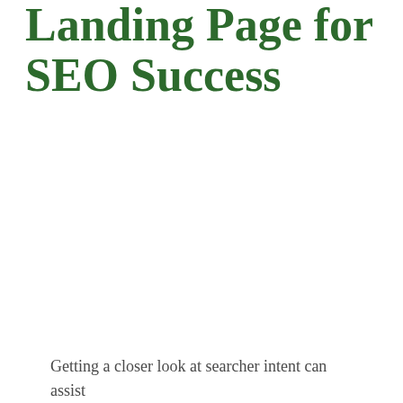Landing Page for SEO Success
Getting a closer look at searcher intent can assist